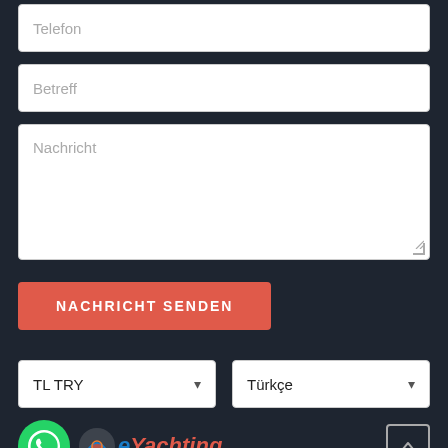[Figure (screenshot): Contact form fields: Telefon input, Betreff input, Nachricht textarea, NACHRICHT SENDEN button, currency/language dropdowns (TL TRY, Türkçe), WhatsApp icon, eYachting logo, scroll-to-top button, footer text beginning with address]
Telefon
Betreff
Nachricht
NACHRICHT SENDEN
TL TRY
Türkçe
... Str. 6 40878 Rat...